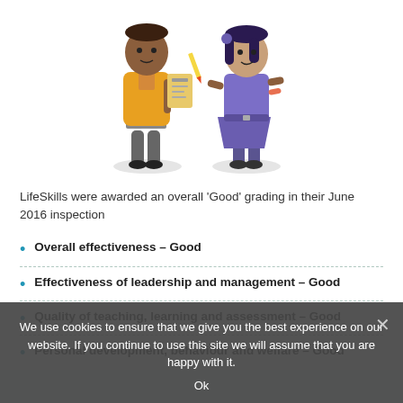[Figure (illustration): Two cartoon characters: a person in an orange jacket holding a book/clipboard, and a person in a purple dress with dark hair]
LifeSkills were awarded an overall ‘Good’ grading in their June 2016 inspection
Overall effectiveness – Good
Effectiveness of leadership and management – Good
Quality of teaching, learning and assessment – Good
Personal development, behaviour and welfare – Good
We use cookies to ensure that we give you the best experience on our website. If you continue to use this site we will assume that you are happy with it.
Ok